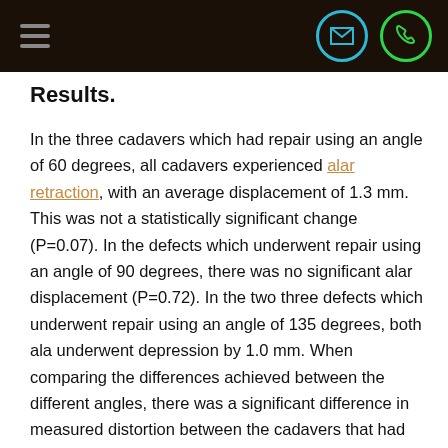Results.
In the three cadavers which had repair using an angle of 60 degrees, all cadavers experienced alar retraction, with an average displacement of 1.3 mm. This was not a statistically significant change (P=0.07). In the defects which underwent repair using an angle of 90 degrees, there was no significant alar displacement (P=0.72). In the two three defects which underwent repair using an angle of 135 degrees, both ala underwent depression by 1.0 mm. When comparing the differences achieved between the different angles, there was a significant difference in measured distortion between the cadavers that had 90 degree and 60 degree vector placement (P=0.02). There were no measureable changes to the